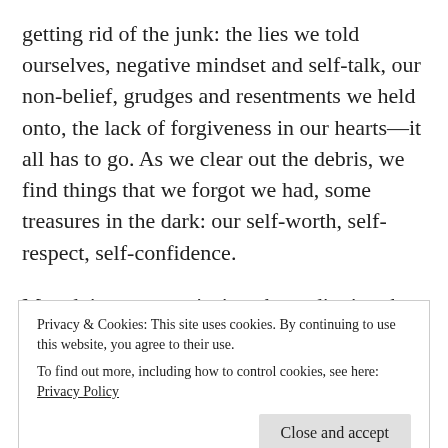getting rid of the junk: the lies we told ourselves, negative mindset and self-talk, our non-belief, grudges and resentments we held onto, the lack of forgiveness in our hearts—it all has to go. As we clear out the debris, we find things that we forgot we had, some treasures in the dark: our self-worth, self-respect, self-confidence.
My advice to you, sis, is to keep digging that big box of boundaries you misplaced years ago is somewhere in there too, if I had to guess, it's
Privacy & Cookies: This site uses cookies. By continuing to use this website, you agree to their use.
To find out more, including how to control cookies, see here: Privacy Policy
With Love,